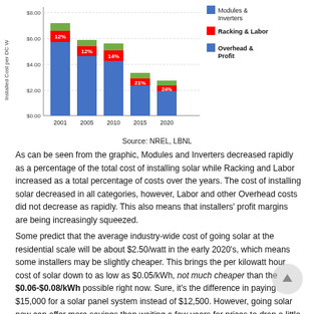[Figure (stacked-bar-chart): Installed Cost per DC watt by Component]
Source: NREL, LBNL
As can be seen from the graphic, Modules and Inverters decreased rapidly as a percentage of the total cost of installing solar while Racking and Labor increased as a total percentage of costs over the years. The cost of installing solar decreased in all categories, however, Labor and other Overhead costs did not decrease as rapidly. This also means that installers' profit margins are being increasingly squeezed.
Some predict that the average industry-wide cost of going solar at the residential scale will be about $2.50/watt in the early 2020's, which means some installers may be slightly cheaper. This brings the per kilowatt hour cost of solar down to as low as $0.05/kWh, not much cheaper than the $0.06-$0.08/kWh possible right now. Sure, it's the difference in paying $15,000 for a solar panel system instead of $12,500. However, going solar now can offer more savings than waiting a few years for prices to drop a little further.